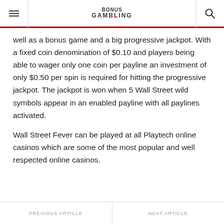BONUS GAMBLING
well as a bonus game and a big progressive jackpot. With a fixed coin denomination of $0.10 and players being able to wager only one coin per payline an investment of only $0.50 per spin is required for hitting the progressive jackpot. The jackpot is won when 5 Wall Street wild symbols appear in an enabled payline with all paylines activated.
Wall Street Fever can be played at all Playtech online casinos which are some of the most popular and well respected online casinos.
PREVIOUS ARTICLE | NEXT ARTICLE